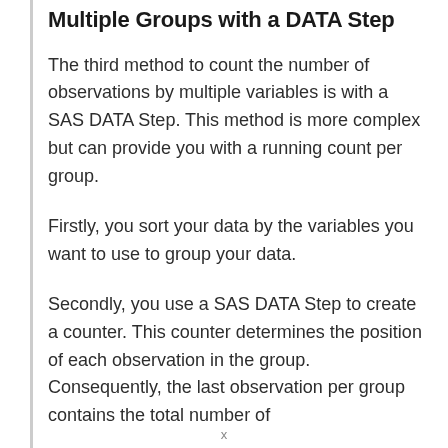Multiple Groups with a DATA Step
The third method to count the number of observations by multiple variables is with a SAS DATA Step. This method is more complex but can provide you with a running count per group.
Firstly, you sort your data by the variables you want to use to group your data.
Secondly, you use a SAS DATA Step to create a counter. This counter determines the position of each observation in the group. Consequently, the last observation per group contains the total number of